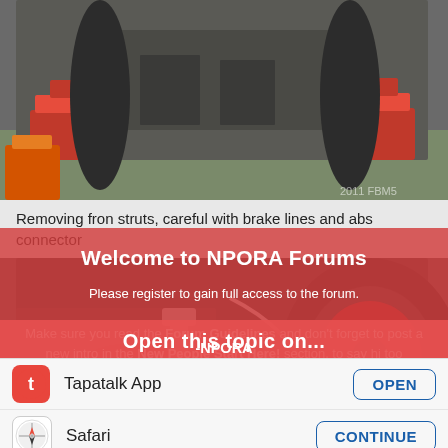[Figure (photo): Underside of a vehicle raised on red jack stands, showing suspension components, with orange floor jack visible]
Removing fron struts, careful with brake lines and abs connector
[Figure (photo): Close-up of wheel/strut area with hands working on a bolt, red brake rotor visible]
Welcome to NPORA Forums
Please register to gain full access to the forum.
Make sure you read the Forum Guidelines and don't forget to post a new intro in the New People Start Here! section, to say hi too everyone.
Open this topic on...
-NPORA
Tapatalk App
Safari